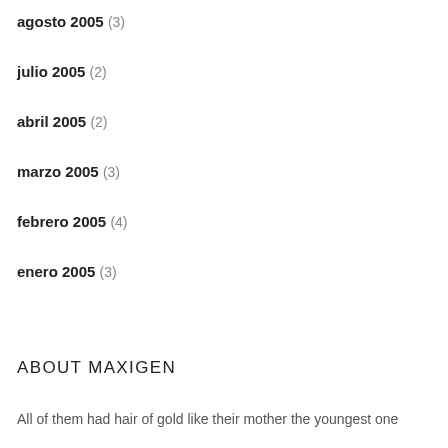agosto 2005 (3)
julio 2005 (2)
abril 2005 (2)
marzo 2005 (3)
febrero 2005 (4)
enero 2005 (3)
ABOUT MAXIGEN
All of them had hair of gold like their mother the youngest one